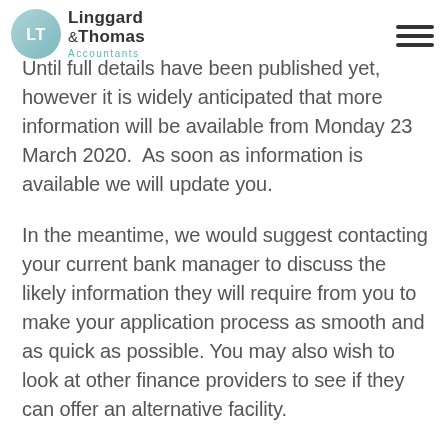Linggard & Thomas Accountants
Until full details have been published yet, however it is widely anticipated that more information will be available from Monday 23 March 2020.  As soon as information is available we will update you.
In the meantime, we would suggest contacting your current bank manager to discuss the likely information they will require from you to make your application process as smooth and as quick as possible. You may also wish to look at other finance providers to see if they can offer an alternative facility.